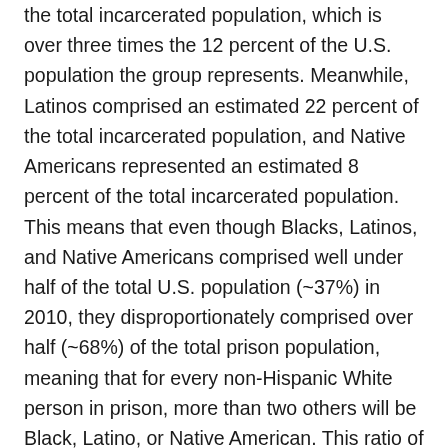the total incarcerated population, which is over three times the 12 percent of the U.S. population the group represents. Meanwhile, Latinos comprised an estimated 22 percent of the total incarcerated population, and Native Americans represented an estimated 8 percent of the total incarcerated population. This means that even though Blacks, Latinos, and Native Americans comprised well under half of the total U.S. population (~37%) in 2010, they disproportionately comprised over half (~68%) of the total prison population, meaning that for every non-Hispanic White person in prison, more than two others will be Black, Latino, or Native American. This ratio of greater than two in every three is practically identical to